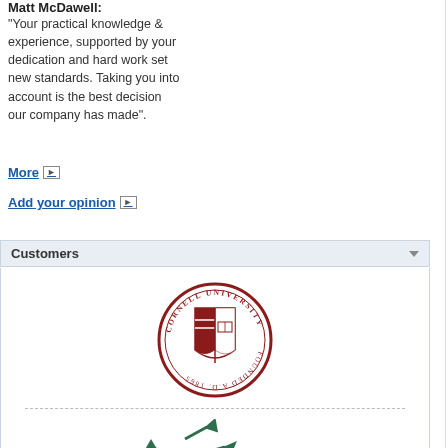Matt McDawell:
"Your practical knowledge & experience, supported by your dedication and hard work set new standards. Taking you into account is the best decision our company has made".
More ▶
Add your opinion ▶
Customers
[Figure (logo): Cornell University seal/logo — red circular seal with shield and text]
[Figure (logo): BNP Paribas logo — green arrows and bold text BNP PARIBAS]
Database Explorer: the Data management group; Export, Data Import, and Get SQL Dump been moved to this group too.
SQL Editor: a popup menu has been added to profile, etc even if editor's navigation b…
SQL Script Editor: Script Explorer has be…
SQL Script Editor settings: the "Use scrip…
Create Database Wizard, Create Profiles…
Data import wizard: the interface for add…
Database Designer settings: the "Show N…" diagrams as images.
The F11 key is now used to show/hide th…
Object editors, SQL Editor, Database De… displayed in the drop-down list.
In addition to this, several bugs have been fixed…